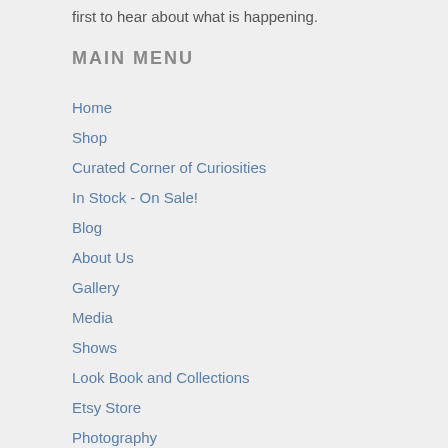first to hear about what is happening.
MAIN MENU
Home
Shop
Curated Corner of Curiosities
In Stock - On Sale!
Blog
About Us
Gallery
Media
Shows
Look Book and Collections
Etsy Store
Photography